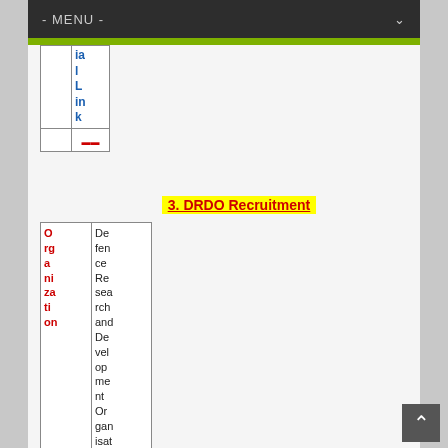- MENU -
[Figure (screenshot): Partial sidebar navigation table showing 'ial Link' text in blue with a red icon below, cut off at top of page]
3. DRDO Recruitment
| Organization |  |
| --- | --- |
| Organization | Defence Research and Development Organisation |